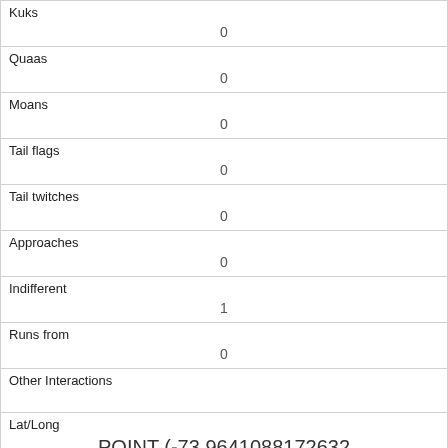| Kuks | 0 |
| Quaas | 0 |
| Moans | 0 |
| Tail flags | 0 |
| Tail twitches | 0 |
| Approaches | 0 |
| Indifferent | 1 |
| Runs from | 0 |
| Other Interactions |  |
| Lat/Long | POINT (-73.9641088172632 40.7886555184212) |